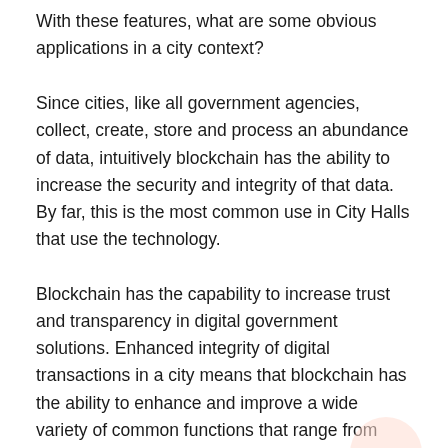With these features, what are some obvious applications in a city context?
Since cities, like all government agencies, collect, create, store and process an abundance of data, intuitively blockchain has the ability to increase the security and integrity of that data. By far, this is the most common use in City Halls that use the technology.
Blockchain has the capability to increase trust and transparency in digital government solutions. Enhanced integrity of digital transactions in a city means that blockchain has the ability to enhance and improve a wide variety of common functions that range from procurement to identity management.